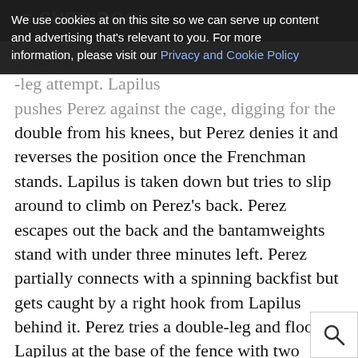SHERDDOG
We use cookies at on this site so we can serve up content and advertising that's relevant to you. For more information, please visit our Privacy and Cookie Policy
Accept Cookies
Cookie Settings
double from his knees, but Perez denies it and reverses the position once the Frenchman stands. Lapilus is taken down but tries to slip around to climb on Perez's back. Perez escapes out the back and the bantamweights stand with under three minutes left. Perez partially connects with a spinning backfist but gets caught by a right hook from Lapilus behind it. Perez tries a double-leg and floors Lapilus at the base of the fence with two minutes left to fight. There's not much action on the ground down the stretch, just short punches from Perez to the body and legs of Lapilus. Inside the last 20 seconds, Perez tries to mount but is stopped